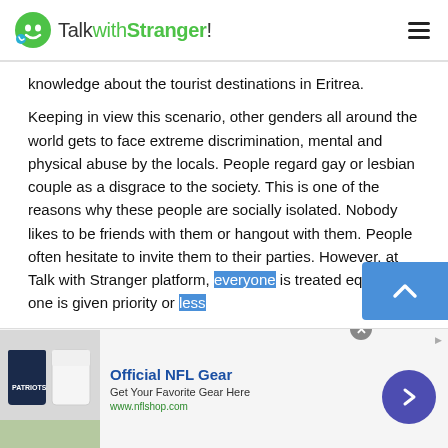TalkwithStranger!
knowledge about the tourist destinations in Eritrea.
Keeping in view this scenario, other genders all around the world gets to face extreme discrimination, mental and physical abuse by the locals. People regard gay or lesbian couple as a disgrace to the society. This is one of the reasons why these people are socially isolated. Nobody likes to be friends with them or hangout with them. People often hesitate to invite them to their parties. However, at Talk with Stranger platform, everyone is treated equally. No one is given priority or less
[Figure (other): Advertisement banner: Official NFL Gear - Get Your Favorite Gear Here, www.nflshop.com, with image of NFL jerseys/shirts]